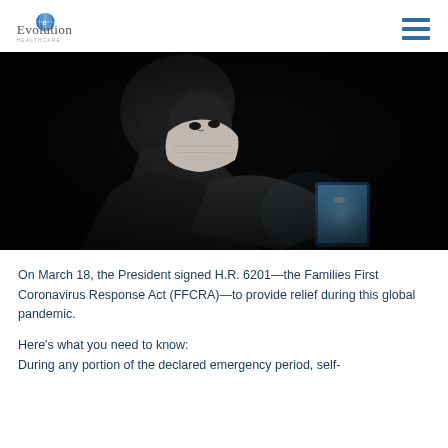Evolution Healthcare
[Figure (photo): A person wearing a face mask using a tablet device in a dark setting, illuminated by the tablet screen.]
On March 18, the President signed H.R. 6201—the Families First Coronavirus Response Act (FFCRA)—to provide relief during this global pandemic.
Here's what you need to know:
During any portion of the declared emergency period, self-